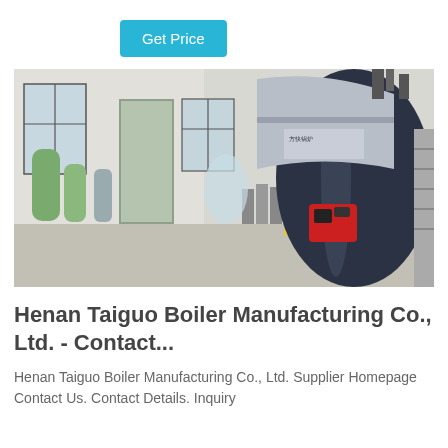Get Price
[Figure (photo): Industrial boiler installation in a factory building. A large dark cylindrical boiler with a red burner on the front and Chinese branding text, along with water treatment equipment (green and grey tanks), piping, and yellow gas pipes visible in the background.]
Henan Taiguo Boiler Manufacturing Co., Ltd. - Contact...
Henan Taiguo Boiler Manufacturing Co., Ltd. Supplier Homepage Contact Us. Contact Details. Inquiry